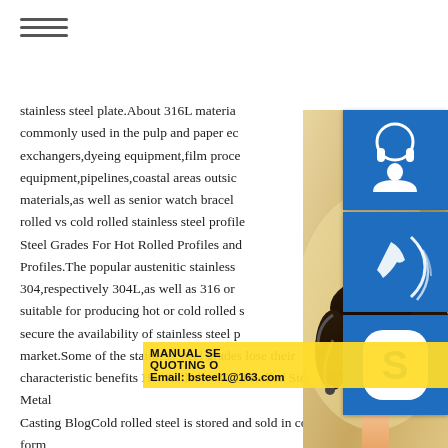≡ (hamburger menu icon)
stainless steel plate.About 316L materia commonly used in the pulp and paper ec exchangers,dyeing equipment,film proce equipment,pipelines,coastal areas outsic materials,as well as senior watch bracel rolled vs cold rolled stainless steel profile Steel Grades For Hot Rolled Profiles and Profiles.The popular austenitic stainless 304,respectively 304L,as well as 316 or suitable for producing hot or cold rolled s secure the availability of stainless steel r market.Some of the stainless steel grades lose their characteristic benefits Hot Rolled vs Cold Rolled Steel Metal Casting BlogCold rolled steel is stored and sold in coiled form after rolling.Steel comes in many grades,specifications,shapes,and finishesthe World Steel Association lists over 3,500 different grades of steel,each with unique properties.The various types mean that steel can by
[Figure (photo): Woman with headset smiling, serving as customer service representative, with blue icon panels for customer service, phone, and Skype overlaid on the right side]
MANUAL SE QUOTING O Email: bsteel1@163.com